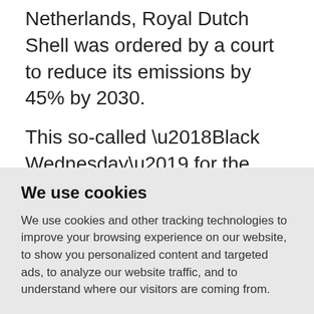Netherlands, Royal Dutch Shell was ordered by a court to reduce its emissions by 45% by 2030.
This so-called ‘Black Wednesday’ for the world’s biggest polluting companies is being heralded as a turning point. Businesses that are failing to act on the
We use cookies
We use cookies and other tracking technologies to improve your browsing experience on our website, to show you personalized content and targeted ads, to analyze our website traffic, and to understand where our visitors are coming from.